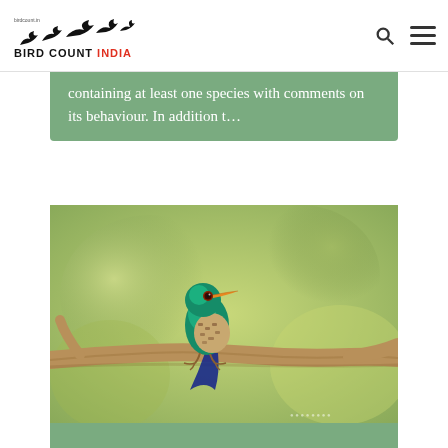BIRD COUNT INDIA
containing at least one species with comments on its behaviour. In addition t...
[Figure (photo): A small teal/green bird with an orange beak and brown-speckled belly, perched on a bare branch against a blurred green background. Appears to be an Asian Emerald Cuckoo or similar iridescent bird.]